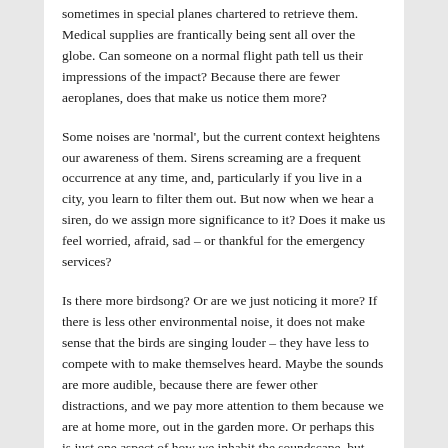sometimes in special planes chartered to retrieve them. Medical supplies are frantically being sent all over the globe. Can someone on a normal flight path tell us their impressions of the impact? Because there are fewer aeroplanes, does that make us notice them more?
Some noises are 'normal', but the current context heightens our awareness of them. Sirens screaming are a frequent occurrence at any time, and, particularly if you live in a city, you learn to filter them out. But now when we hear a siren, do we assign more significance to it? Does it make us feel worried, afraid, sad – or thankful for the emergency services?
Is there more birdsong? Or are we just noticing it more? If there is less other environmental noise, it does not make sense that the birds are singing louder – they have less to compete with to make themselves heard. Maybe the sounds are more audible, because there are fewer other distractions, and we pay more attention to them because we are at home more, out in the garden more. Or perhaps this is just one aspect of how we inhabit the soundscape, but